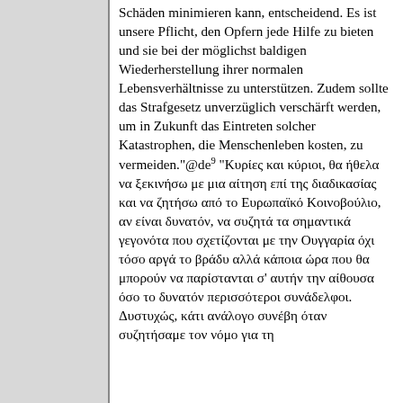Schäden minimieren kann, entscheidend. Es ist unsere Pflicht, den Opfern jede Hilfe zu bieten und sie bei der möglichst baldigen Wiederherstellung ihrer normalen Lebensverhältnisse zu unterstützen. Zudem sollte das Strafgesetz unverzüglich verschärft werden, um in Zukunft das Eintreten solcher Katastrophen, die Menschenleben kosten, zu vermeiden."@de⁹ "Κυρίες και κύριοι, θα ήθελα να ξεκινήσω με μια αίτηση επί της διαδικασίας και να ζητήσω από το Ευρωπαϊκό Κοινοβούλιο, αν είναι δυνατόν, να συζητά τα σημαντικά γεγονότα που σχετίζονται με την Ουγγαρία όχι τόσο αργά το βράδυ αλλά κάποια ώρα που θα μπορούν να παρίστανται σ' αυτήν την αίθουσα όσο το δυνατόν περισσότεροι συνάδελφοι. Δυστυχώς, κάτι ανάλογο συνέβη όταν συζητήσαμε τον νόμο για τη